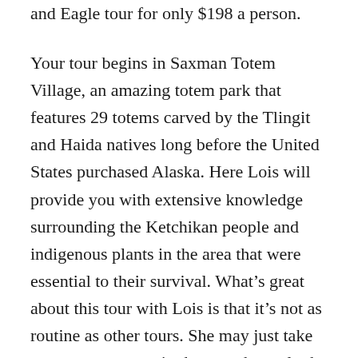and Eagle tour for only $198 a person.
Your tour begins in Saxman Totem Village, an amazing totem park that features 29 totems carved by the Tlingit and Haida natives long before the United States purchased Alaska. Here Lois will provide you with extensive knowledge surrounding the Ketchikan people and indigenous plants in the area that were essential to their survival. What's great about this tour with Lois is that it's not as routine as other tours. She may just take you to some spots in the area that only the locals know about where tour buses never travel.
After Saxman Totem Village Lois will take you to see an eagle tree, where you may just catch a glimpse of